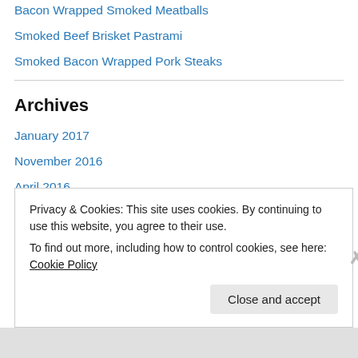Bacon Wrapped Smoked Meatballs
Smoked Beef Brisket Pastrami
Smoked Bacon Wrapped Pork Steaks
Archives
January 2017
November 2016
April 2016
November 2015
August 2015
June 2015
Privacy & Cookies: This site uses cookies. By continuing to use this website, you agree to their use.
To find out more, including how to control cookies, see here: Cookie Policy
Close and accept